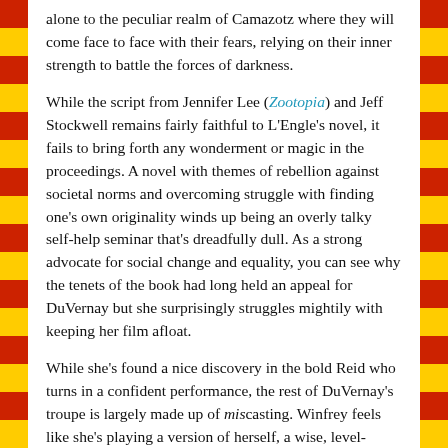alone to the peculiar realm of Camazotz where they will come face to face with their fears, relying on their inner strength to battle the forces of darkness.
While the script from Jennifer Lee (Zootopia) and Jeff Stockwell remains fairly faithful to L'Engle's novel, it fails to bring forth any wonderment or magic in the proceedings. A novel with themes of rebellion against societal norms and overcoming struggle with finding one's own originality winds up being an overly talky self-help seminar that's dreadfully dull. As a strong advocate for social change and equality, you can see why the tenets of the book had long held an appeal for DuVernay but she surprisingly struggles mightily with keeping her film afloat.
While she's found a nice discovery in the bold Reid who turns in a confident performance, the rest of DuVernay's troupe is largely made up of miscasting. Winfrey feels like she's playing a version of herself, a wise, level-headed sage that speaks in new age-y proverbs and spends the first half of the movie 50 times the size of any other character. Witherspoon is